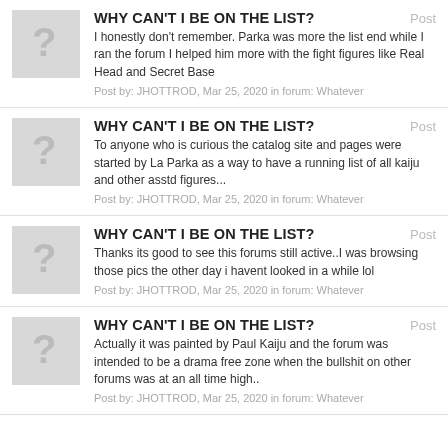WHY CAN'T I BE ON THE LIST? | Post | I honestly don't remember. Parka was more the list end while I ran the forum I helped him more with the fight figures like Real Head and Secret Base | Post by: JHOTTROD, Mar 25, 2020 in forum: Whatever
WHY CAN'T I BE ON THE LIST? | Post | To anyone who is curious the catalog site and pages were started by La Parka as a way to have a running list of all kaiju and other asstd figures... | Post by: JHOTTROD, Mar 25, 2020 in forum: Whatever
WHY CAN'T I BE ON THE LIST? | Post | Thanks its good to see this forums still active..I was browsing those pics the other day i havent looked in a while lol | Post by: JHOTTROD, Mar 25, 2020 in forum: Whatever
WHY CAN'T I BE ON THE LIST? | Post | Actually it was painted by Paul Kaiju and the forum was intended to be a drama free zone when the bullshit on other forums was at an all time high.. | Post by: JHOTTROD, Mar 25, 2020 in forum: Whatever